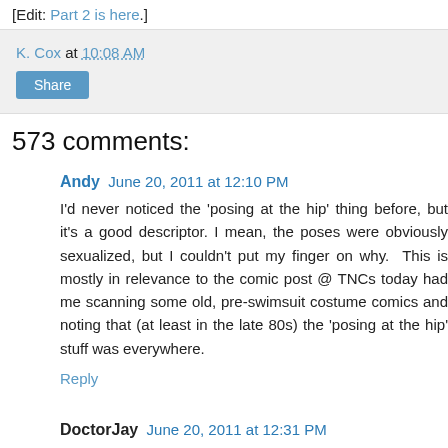[Edit: Part 2 is here.]
K. Cox at 10:08 AM
Share
573 comments:
Andy June 20, 2011 at 12:10 PM
I'd never noticed the 'posing at the hip' thing before, but it's a good descriptor. I mean, the poses were obviously sexualized, but I couldn't put my finger on why.  This is mostly in relevance to the comic post @ TNCs today had me scanning some old, pre-swimsuit costume comics and noting that (at least in the late 80s) the 'posing at the hip' stuff was everywhere.
Reply
DoctorJay June 20, 2011 at 12:31 PM